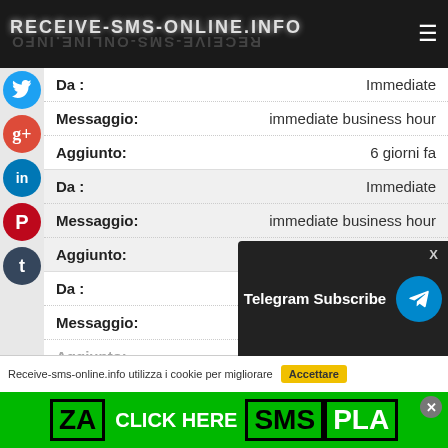RECEIVE-SMS-ONLINE.INFO
| Field | Value |
| --- | --- |
| Da : | Immediate |
| Messaggio: | immediate business hour |
| Aggiunto: | 6 giorni fa |
| Da : | Immediate |
| Messaggio: | immediate business hour |
| Aggiunto: | 6 giorni fa |
| Da : | Immediate |
| Messaggio: |  |
| Aggiunto: |  |
[Figure (screenshot): Telegram Subscribe overlay banner with blue Telegram icon]
Receive-sms-online.info utilizza i cookie per migliorare
[Figure (infographic): Green ad banner: ZA CLICK HERE SMSPLAN with black border text]